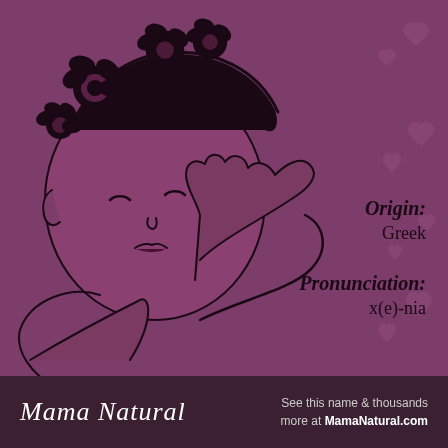[Figure (illustration): Line art illustration of a sleeping newborn baby girl with flowers in her hair, rendered in dark purple/black on mauve-purple background. Baby's head rests on her hand. Background has subtle heart shapes on the right side.]
Origin:
Greek
Pronunciation:
x(e)-nia
Mama Natural   See this name & thousands more at MamaNatural.com